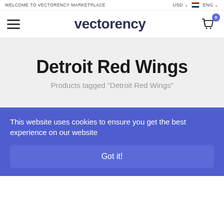WELCOME TO VECTORENCY MARKETPLACE | USD | ENG
[Figure (logo): Vectorency marketplace logo with hamburger menu and cart icon showing 0 items]
Detroit Red Wings
Products tagged “Detroit Red Wings”
This website uses cookies to ensure you get the best experience on our website
Got it!